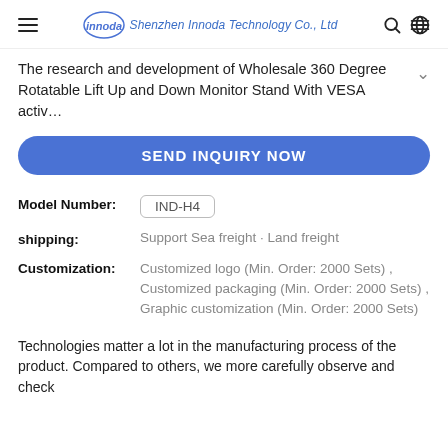Shenzhen Innoda Technology Co., Ltd
The research and development of Wholesale 360 Degree Rotatable Lift Up and Down Monitor Stand With VESA activ…
SEND INQUIRY NOW
Model Number: IND-H4
shipping: Support Sea freight · Land freight
Customization: Customized logo (Min. Order: 2000 Sets) , Customized packaging (Min. Order: 2000 Sets) , Graphic customization (Min. Order: 2000 Sets)
Technologies matter a lot in the manufacturing process of the product. Compared to others, we more carefully observe and check